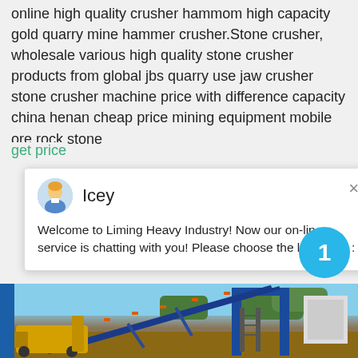online high quality crusher hammom high capacity gold quarry mine hammer crusher.Stone crusher, wholesale various high quality stone crusher products from global jbs quarry use jaw crusher stone crusher machine price with difference capacity china henan cheap price mining equipment mobile ore rock stone
get price
[Figure (screenshot): Chat popup widget from Liming Heavy Industry website showing avatar of 'Icey' and welcome message: 'Welcome to Liming Heavy Industry! Now our on-line service is chatting with you! Please choose the language :']
[Figure (photo): Outdoor photograph of heavy mining/crushing equipment including a yellow loader and a large blue metal frame conveyor and crusher structure against a blue sky with trees in the background. A blue circle with the number 1 is overlaid on the image.]